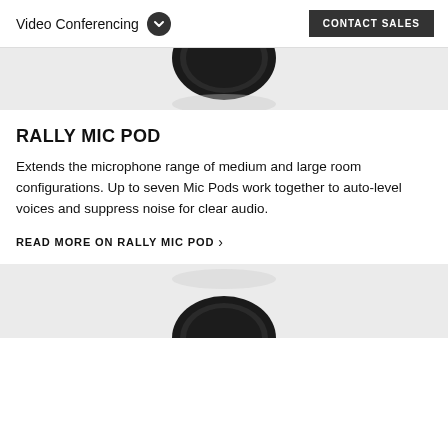Video Conferencing  CONTACT SALES
[Figure (photo): Top portion of a Rally Mic Pod device shown cropped at the top of the page, dark circular microphone on a light gray background]
RALLY MIC POD
Extends the microphone range of medium and large room configurations. Up to seven Mic Pods work together to auto-level voices and suppress noise for clear audio.
READ MORE ON RALLY MIC POD >
[Figure (photo): Bottom portion of another Rally Mic Pod device shown cropped at the bottom of the page, dark circular microphone on a light gray background]